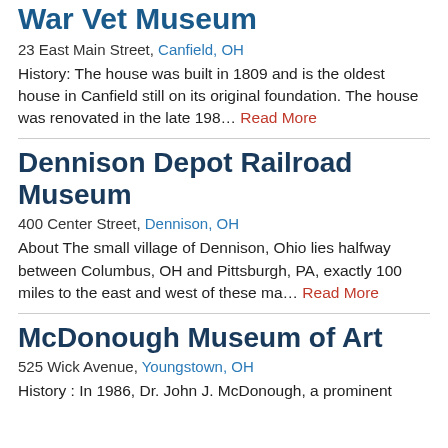War Vet Museum
23 East Main Street, Canfield, OH
History: The house was built in 1809 and is the oldest house in Canfield still on its original foundation. The house was renovated in the late 198… Read More
Dennison Depot Railroad Museum
400 Center Street, Dennison, OH
About The small village of Dennison, Ohio lies halfway between Columbus, OH and Pittsburgh, PA, exactly 100 miles to the east and west of these ma… Read More
McDonough Museum of Art
525 Wick Avenue, Youngstown, OH
History : In 1986, Dr. John J. McDonough, a prominent